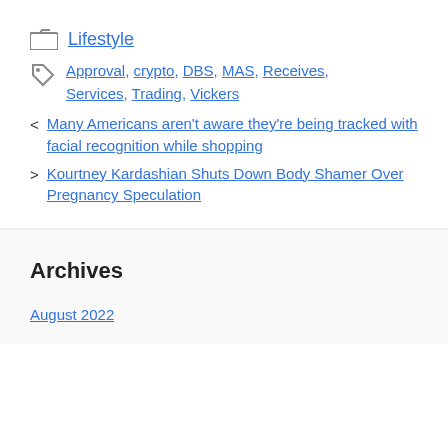Lifestyle
Approval, crypto, DBS, MAS, Receives, Services, Trading, Vickers
< Many Americans aren't aware they're being tracked with facial recognition while shopping
> Kourtney Kardashian Shuts Down Body Shamer Over Pregnancy Speculation
Archives
August 2022